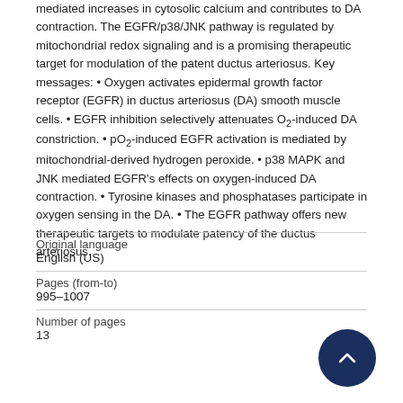mediated increases in cytosolic calcium and contributes to DA contraction. The EGFR/p38/JNK pathway is regulated by mitochondrial redox signaling and is a promising therapeutic target for modulation of the patent ductus arteriosus. Key messages: • Oxygen activates epidermal growth factor receptor (EGFR) in ductus arteriosus (DA) smooth muscle cells. • EGFR inhibition selectively attenuates O2-induced DA constriction. • pO2-induced EGFR activation is mediated by mitochondrial-derived hydrogen peroxide. • p38 MAPK and JNK mediated EGFR's effects on oxygen-induced DA contraction. • Tyrosine kinases and phosphatases participate in oxygen sensing in the DA. • The EGFR pathway offers new therapeutic targets to modulate patency of the ductus arteriosus.
| Original language |  |
| English (US) |  |
| Pages (from-to) |  |
| 995-1007 |  |
| Number of pages |  |
| 13 |  |